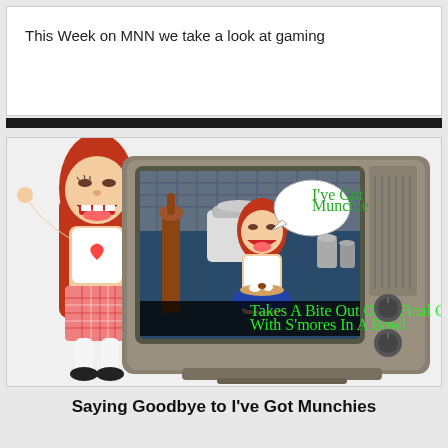This Week on MNN we take a look at gaming
[Figure (photo): A handmade puppet doll with red hair and a plaid dress poses next to a vintage television set. On the TV screen, the same puppet character appears in a kitchen setting with a speech bubble saying 'I've Got Munchies' and a caption at the bottom reading 'Takes A Bite Out Of A Final Goodbye With S'mores In A Bowl']
Saying Goodbye to I've Got Munchies